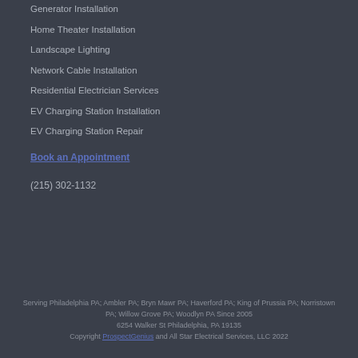Generator Installation
Home Theater Installation
Landscape Lighting
Network Cable Installation
Residential Electrician Services
EV Charging Station Installation
EV Charging Station Repair
Book an Appointment
(215) 302-1132
Serving Philadelphia PA; Ambler PA; Bryn Mawr PA; Haverford PA; King of Prussia PA; Norristown PA; Willow Grove PA; Woodlyn PA Since 2005
6254 Walker St Philadelphia, PA 19135
Copyright ProspectGenius and All Star Electrical Services, LLC 2022